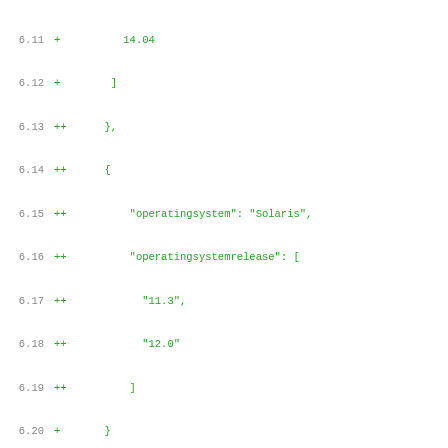Diff/patch code listing showing lines 6.11–7.21 of a software patch adding Solaris support to puppetlabs-apache module